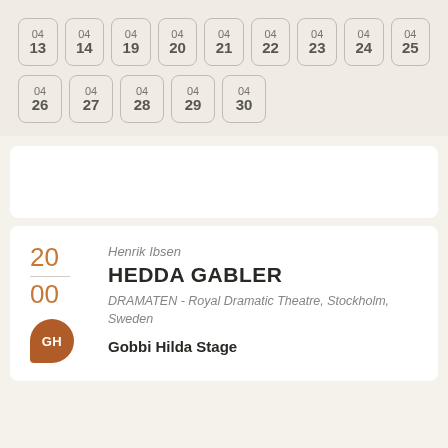04 13, 04 14, 04 19, 04 20, 04 21, 04 22, 04 23, 04 24, 04 25, 04 26, 04 27, 04 28, 04 29, 04 30
Henrik Ibsen
HEDDA GABLER
DRAMATEN - Royal Dramatic Theatre, Stockholm, Sweden
Gobbi Hilda Stage
20
00